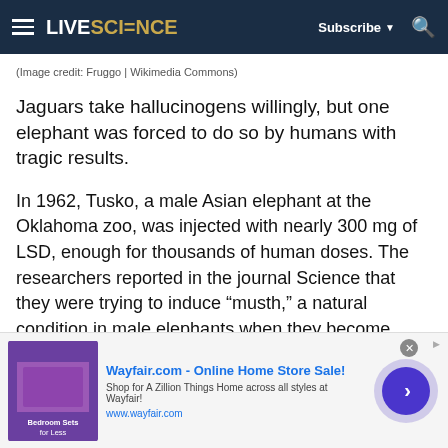LIVESCIENCE | Subscribe | Search
(Image credit: Fruggo | Wikimedia Commons)
Jaguars take hallucinogens willingly, but one elephant was forced to do so by humans with tragic results.
In 1962, Tusko, a male Asian elephant at the Oklahoma zoo, was injected with nearly 300 mg of LSD, enough for thousands of human doses. The researchers reported in the journal Science that they were trying to induce “musth,” a natural condition in male elephants when they become violent and erratic. Instead, the elephant started trumpeting and
[Figure (screenshot): Wayfair.com advertisement banner showing bedroom furniture image, ad title 'Wayfair.com - Online Home Store Sale!', subtitle 'Shop for A Zillion Things Home across all styles at Wayfair!', URL www.wayfair.com, and a purple circular play/arrow button.]